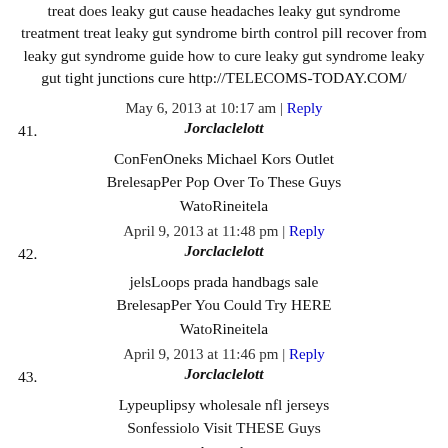treat does leaky gut cause headaches leaky gut syndrome treatment treat leaky gut syndrome birth control pill recover from leaky gut syndrome guide how to cure leaky gut syndrome leaky gut tight junctions cure http://TELECOMS-TODAY.COM/
May 6, 2013 at 10:17 am | Reply
41. Jorclaclelott
ConFenOneks Michael Kors Outlet BrelesapPer Pop Over To These Guys WatoRineitela
April 9, 2013 at 11:48 pm | Reply
42. Jorclaclelott
jelsLoops prada handbags sale BrelesapPer You Could Try HERE WatoRineitela
April 9, 2013 at 11:46 pm | Reply
43. Jorclaclelott
Lypeuplipsy wholesale nfl jerseys Sonfessiolo Visit THESE Guys Amondu